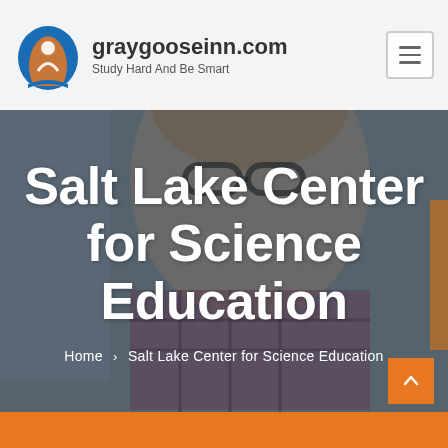graygooseinn.com - Study Hard And Be Smart
[Figure (photo): Background photo of a smiling young student wearing glasses and a plaid shirt, with a dark overlay]
Salt Lake Center for Science Education
Home > Salt Lake Center for Science Education